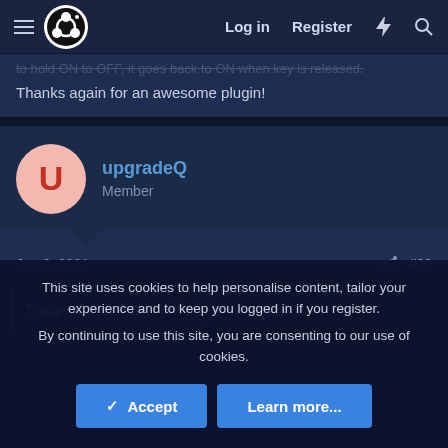OBS Forum navigation bar with Log in, Register links
to hold ON to OFF, it goes back to ON when key is released. Thanks again for an awesome plugin!
upgradeQ
Member
Jun 6, 2021 #30
TrapperSevenFour said:
This site uses cookies to help personalise content, tailor your experience and to keep you logged in if you register. By continuing to use this site, you are consenting to our use of cookies.
Accept
Learn more...